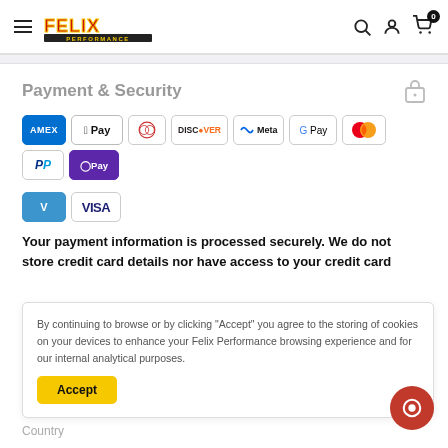Felix Performance — navigation header with hamburger menu, logo, search, account, and cart icons
Payment & Security
[Figure (infographic): Payment method icons: Amex, Apple Pay, Diners Club, Discover, Meta Pay, Google Pay, Mastercard, PayPal, Shop Pay, Venmo, Visa]
Your payment information is processed securely. We do not store credit card details nor have access to your credit card
By continuing to browse or by clicking "Accept" you agree to the storing of cookies on your devices to enhance your Felix Performance browsing experience and for our internal analytical purposes.
Accept
Country